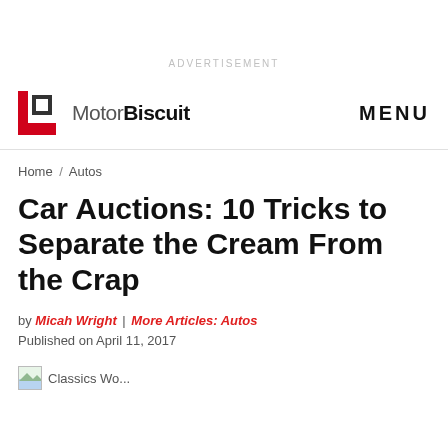ADVERTISEMENT
[Figure (logo): MotorBiscuit logo with red bracket icon and site name, plus MENU text on the right]
Home / Autos
Car Auctions: 10 Tricks to Separate the Cream From the Crap
by Micah Wright | More Articles: Autos
Published on April 11, 2017